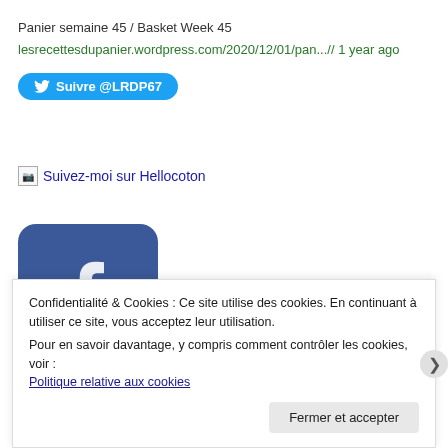Panier semaine 45 / Basket Week 45
lesrecettesdupanier.wordpress.com/2020/12/01/pan...// 1 year ago
[Figure (other): Twitter follow button: Suivre @LRDP67]
[Figure (other): Broken image placeholder with text: Suivez-moi sur Hellocoton]
[Figure (other): Facebook logo image - blue square with white f letter]
Confidentialité & Cookies : Ce site utilise des cookies. En continuant à utiliser ce site, vous acceptez leur utilisation.
Pour en savoir davantage, y compris comment contrôler les cookies, voir :
Politique relative aux cookies
Fermer et accepter